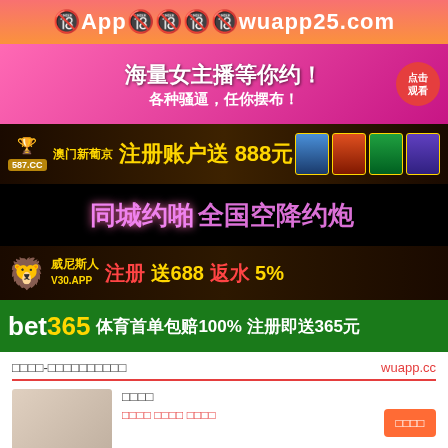🔞App🔞🔞🔞🔞wuapp25.com
[Figure (infographic): Adult live streaming advertisement banner: 海量女主播等你约！各种骚逼，任你摆布！ with click button 点击观看]
[Figure (infographic): Gambling advertisement: 澳门新葡京 587.CC 注册账户送888元]
[Figure (infographic): Adult content banner: 同城约啪全国空降约炮]
[Figure (infographic): 威尼斯人 V30.APP 注册送688 返水5%]
[Figure (infographic): bet365 体育首单包赔100% 注册即送365元]
□□□□-□□□□□□□□□□
wuapp.cc
□□□□
□□□□ □□□□ □□□□